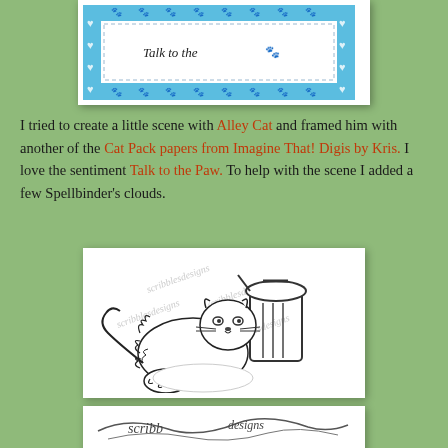[Figure (photo): A handmade greeting card with blue background featuring paw prints and hearts border, white center panel with cursive text 'Talk to the Paw' and a small cat paw graphic]
I tried to create a little scene with Alley Cat and framed him with another of the Cat Pack papers from Imagine That! Digis by Kris. I love the sentiment Talk to the Paw. To help with the scene I added a few Spellbinder's clouds.
[Figure (illustration): Black and white line drawing of a scruffy alley cat lounging next to an open trash can, with watermark text 'scribblesdesigns' overlaid multiple times]
[Figure (illustration): Partial view of another black and white illustration at the bottom of the page, showing cursive script elements]